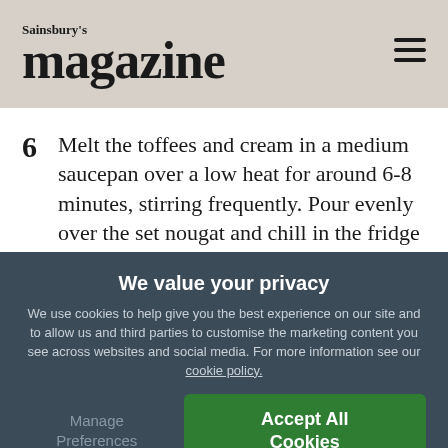Sainsbury's magazine
6  Melt the toffees and cream in a medium saucepan over a low heat for around 6-8 minutes, stirring frequently. Pour evenly over the set nougat and chill in the fridge for 20 minutes or freeze for 10 minutes.
We value your privacy
We use cookies to help give you the best experience on our site and to allow us and third parties to customise the marketing content you see across websites and social media. For more information see our cookie policy.
Manage Preferences
Accept All Cookies